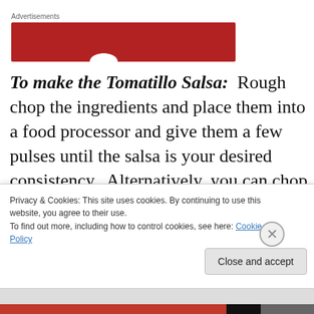Advertisements
[Figure (other): Red advertisement banner with white arc at bottom center]
To make the Tomatillo Salsa:  Rough chop the ingredients and place them into a food processor and give them a few pulses until the salsa is your desired consistency.  Alternatively, you can chop all of the ingredients by hand.  Make sure to season correctly with
Privacy & Cookies: This site uses cookies. By continuing to use this website, you agree to their use.
To find out more, including how to control cookies, see here: Cookie Policy
Close and accept